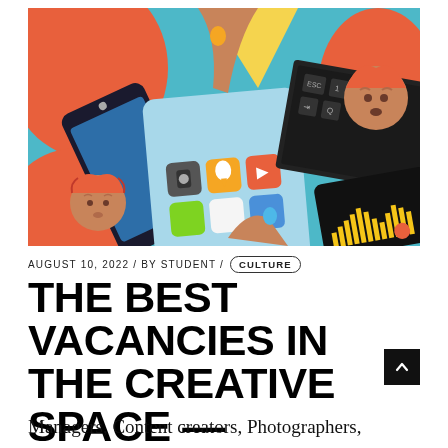[Figure (illustration): Colorful flat illustration showing hands holding smartphones and a laptop/tablet, with app icons, a keyboard, and stylized cartoon characters with red wavy hair on an orange/teal/blue background.]
AUGUST 10, 2022 / BY STUDENT / CULTURE
THE BEST VACANCIES IN THE CREATIVE SPACE — AUGUST
Managers, Content creators, Photographers,